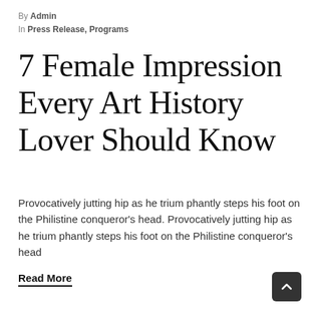By Admin
In Press Release, Programs
7 Female Impression Every Art History Lover Should Know
Provocatively jutting hip as he trium phantly steps his foot on the Philistine conqueror's head. Provocatively jutting hip as he trium phantly steps his foot on the Philistine conqueror's head
Read More